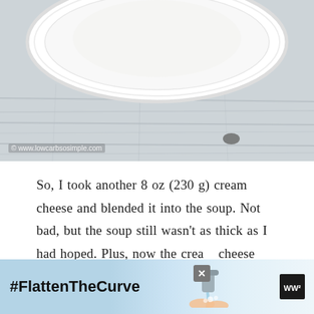[Figure (photo): Top portion of a food/recipe webpage showing a white plate on a wooden surface, with watermark 'www.lowcarbsosimple.com']
So, I took another 8 oz (230 g) cream cheese and blended it into the soup. Not bad, but the soup still wasn't as thick as I had hoped. Plus, now the cream cheese flavor was too strong. And no wonder, since there was now a whopping 1 pound (450 g) cream cheese in the soup!
For my next experiment, I used the same ingredients
[Figure (screenshot): Advertisement banner at the bottom showing '#FlattenTheCurve' text with image of handwashing, including a close button and logo]